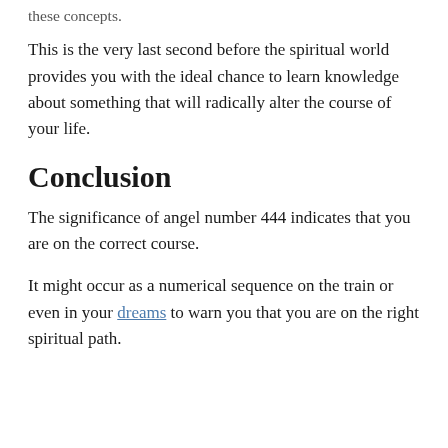these concepts.
This is the very last second before the spiritual world provides you with the ideal chance to learn knowledge about something that will radically alter the course of your life.
Conclusion
The significance of angel number 444 indicates that you are on the correct course.
It might occur as a numerical sequence on the train or even in your dreams to warn you that you are on the right spiritual path.